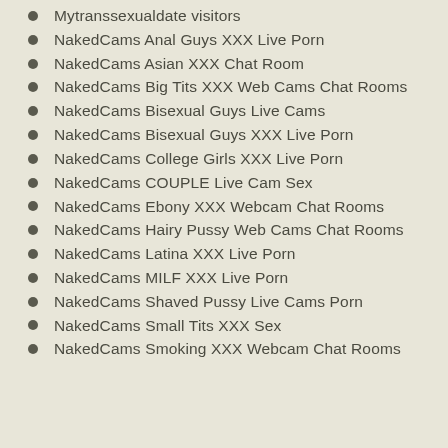Mytranssexualdate visitors
NakedCams Anal Guys XXX Live Porn
NakedCams Asian XXX Chat Room
NakedCams Big Tits XXX Web Cams Chat Rooms
NakedCams Bisexual Guys Live Cams
NakedCams Bisexual Guys XXX Live Porn
NakedCams College Girls XXX Live Porn
NakedCams COUPLE Live Cam Sex
NakedCams Ebony XXX Webcam Chat Rooms
NakedCams Hairy Pussy Web Cams Chat Rooms
NakedCams Latina XXX Live Porn
NakedCams MILF XXX Live Porn
NakedCams Shaved Pussy Live Cams Porn
NakedCams Small Tits XXX Sex
NakedCams Smoking XXX Webcam Chat Rooms